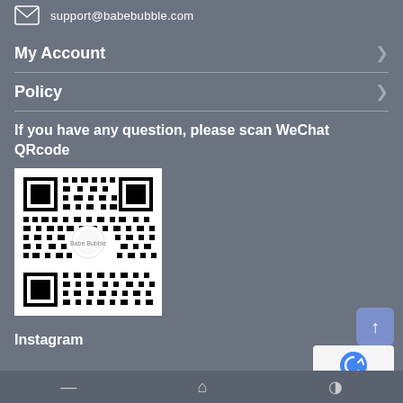support@babebubble.com
My Account
Policy
If you have any question, please scan WeChat QRcode
[Figure (other): WeChat QR code with Babe Bubble logo in the center]
Instagram